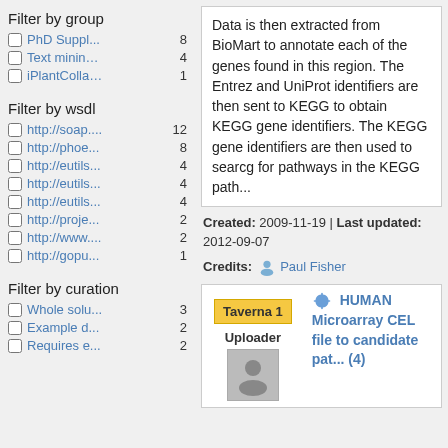Filter by group
PhD Suppl... 8
Text minin… 4
iPlantColla… 1
Filter by wsdl
http://soap.... 12
http://phoe... 8
http://eutils... 4
http://eutils... 4
http://eutils... 4
http://proje... 2
http://www.... 2
http://gopu... 1
Filter by curation
Whole solu… 3
Example d… 2
Requires e… 2
Data is then extracted from BioMart to annotate each of the genes found in this region. The Entrez and UniProt identifiers are then sent to KEGG to obtain KEGG gene identifiers. The KEGG gene identifiers are then used to searcg for pathways in the KEGG path...
Created: 2009-11-19 | Last updated: 2012-09-07
Credits: Paul Fisher
Taverna 1 HUMAN Microarray CEL file to candidate pat... (4) Uploader